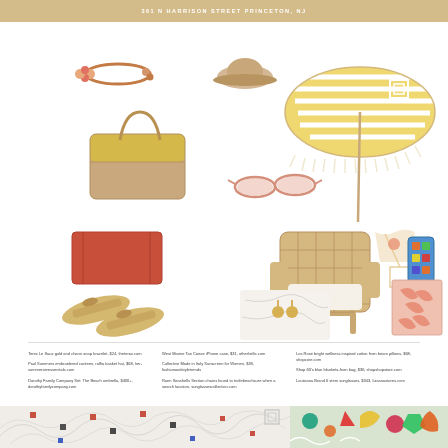361 N HARRISON STREET PRINCETON, NJ
[Figure (photo): Summer product collage featuring: pink tassel bracelet, straw bucket hat, striped beach umbrella with fringe, tan/yellow colorblock tote bag, pink sunglasses, red lumbar pillow, woven lounge chair, cocktail glass and colorful phone case, tan slide sandals with embellishment, gold earrings on marble surface, tropical print beach towel/blanket]
Terez Le Saux gold and charm snap bracelet, $24, theterazcom

Paul Summers embroidered canteen, raffia basket hat, $68, her-summersteessentials

Dorothy Family Company Set: The Beach umbrella, $400+, dorothyfamilycompany.com
West Marine Tan Canoe iPhone case, $31, otherhello.com

Collective Made in Italy Sunscreen for Women, $39, fashionandstyletrends

Raen Seashells Section chains found to trotlebeachsure when a search location, sunglassescollection.com
Los Rose bright wellness inspired cotton from beam pillows, $68, shopcore.com

Shop 60's blue blankets-from bag, $36, shopshopstore.com

Louisiana Brand 6 stem sunglasses, $343, luisanastores.com
[Figure (photo): Abstract wallpaper/textile pattern with colorful geometric squares (coral, blue, gray, dark) overlaid on white botanical line drawing, with partial face of older man at bottom left]
[Figure (photo): Colorful decorative ornaments and crafts - teal, orange, red, neon colors, intricate shapes]